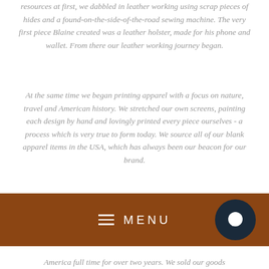resources at first, we dabbled in leather working using scrap pieces of hides and a found-on-the-side-of-the-road sewing machine. The very first piece Blaine created was a leather holster, made for his phone and wallet. From there our leather working journey began.
At the same time we began printing apparel with a focus on nature, travel and American history. We stretched our own screens, painting each design by hand and lovingly printed every piece ourselves - a process which is very true to form today. We source all of our blank apparel items in the USA, which has always been our beacon for our brand.
[Figure (other): Brown navigation menu bar with hamburger icon, 'MENU' text in white, and a dark navy circular chat button on the right]
America full time for over two years. We sold our goods